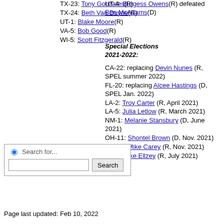TX-23: Tony Gonzales(R)
TX-24: Beth Van Duyne(R)
UT-1: Blake Moore(R)
VA-5: Bob Good(R)
WI-5: Scott Fitzgerald(R)
UT-4: Burgess Owens(R) defeated Ben McAdams(D)
Special Elections 2021-2022:
CA-22: replacing Devin Nunes (R, SPEL summer 2022)
FL-20: replacing Alcee Hastings (D, SPEL Jan. 2022)
LA-2: Troy Carter (R, April 2021)
LA-5: Julia Letlow (R, March 2021)
NM-1: Melanie Stansbury (D, June 2021)
OH-11: Shontel Brown (D, Nov. 2021)
OH-15: Mike Carey (R, Nov. 2021)
TX-6: Jake Ellzey (R, July 2021)
Search for... [search box]
Page last updated: Feb 10, 2022